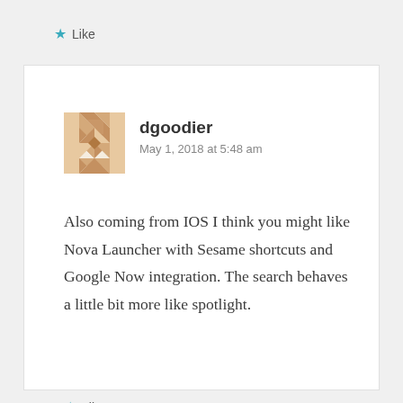★ Like
dgoodier
May 1, 2018 at 5:48 am
Also coming from IOS I think you might like Nova Launcher with Sesame shortcuts and Google Now integration. The search behaves a little bit more like spotlight.
★ Like